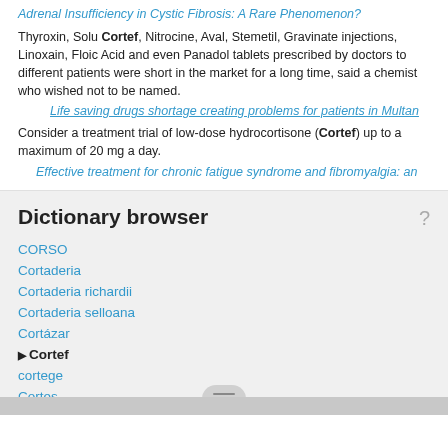Adrenal Insufficiency in Cystic Fibrosis: A Rare Phenomenon?
Thyroxin, Solu Cortef, Nitrocine, Aval, Stemetil, Gravinate injections, Linoxain, Floic Acid and even Panadol tablets prescribed by doctors to different patients were short in the market for a long time, said a chemist who wished not to be named.
Life saving drugs shortage creating problems for patients in Multan
Consider a treatment trial of low-dose hydrocortisone (Cortef) up to a maximum of 20 mg a day.
Effective treatment for chronic fatigue syndrome and fibromyalgia: an
Dictionary browser
CORSO
Cortaderia
Cortaderia richardii
Cortaderia selloana
Cortázar
Cortef
cortege
Cortes